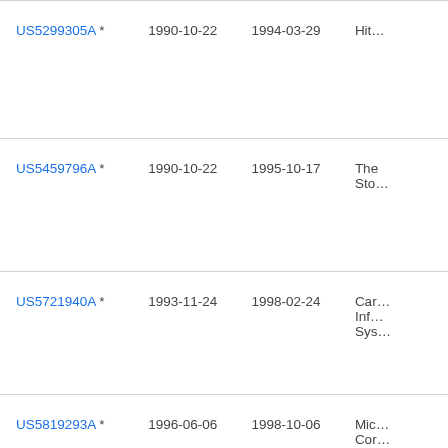| Patent | Filed | Publication Date | Assignee |
| --- | --- | --- | --- |
| US5299305A * | 1990-10-22 | 1994-03-29 | Hit… |
| US5459796A * | 1990-10-22 | 1995-10-17 | The… Sto… |
| US5721940A * | 1993-11-24 | 1998-02-24 | Car… Inf… Sys… |
| US5819293A * | 1996-06-06 | 1998-10-06 | Mic… Cor… |